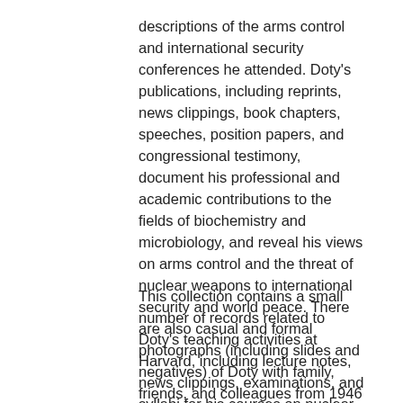Doty's professional affiliations and contain descriptions of the arms control and international security conferences he attended. Doty's publications, including reprints, news clippings, book chapters, speeches, position papers, and congressional testimony, document his professional and academic contributions to the fields of biochemistry and microbiology, and reveal his views on arms control and the threat of nuclear weapons to international security and world peace. There are also casual and formal photographs (including slides and negatives) of Doty with family, friends, and colleagues from 1946 to 2007 at professional conferences, on vacation, at birthday parties, and other social events.
This collection contains a small number of records related to Doty's teaching activities at Harvard, including lecture notes, news clippings, examinations, and syllabi for his courses on nuclear strategy and arms control at the Belfer Center for Science and International Affairs. Other records such as letters, reports, and memoranda document Doty's involvement in the reorganization of biochemistry at